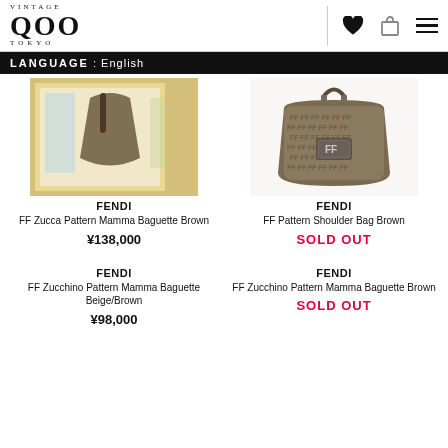[Figure (logo): Vintage Qoo Tokyo logo in serif font]
LANGUAGE : English
[Figure (photo): Partial photo of a brown leather bag in a retail or mirror setting, yellow/beige background]
[Figure (photo): Fendi FF Zucca pattern shoulder bag in brown monogram canvas with silver FF clasp buckle]
FENDI
FF Zucca Pattern Mamma Baguette Brown
¥138,000
FENDI
FF Pattern Shoulder Bag Brown
SOLD OUT
FENDI
FF Zucchino Pattern Mamma Baguette Beige/Brown
¥98,000
FENDI
FF Zucchino Pattern Mamma Baguette Brown
SOLD OUT